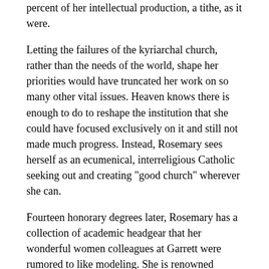percent of her intellectual production, a tithe, as it were.
Letting the failures of the kyriarchal church, rather than the needs of the world, shape her priorities would have truncated her work on so many other vital issues. Heaven knows there is enough to do to reshape the institution that she could have focused exclusively on it and still not made much progress. Instead, Rosemary sees herself as an ecumenical, interreligious Catholic seeking out and creating "good church" wherever she can.
Fourteen honorary degrees later, Rosemary has a collection of academic headgear that her wonderful women colleagues at Garrett were rumored to like modeling. She is renowned worldwide, her work translated into many languages, her ideas sparking theological insights in people she will never meet.
She continues steadily along her own path, rejoicing in a long, good marriage, the lives and careers of her children and grandchildren, and in the splendid company of the Pilgrim Place community made up of diverse ministers, professors, Grail members, activists all.
Rosemary's public practice of theology is a model to emulate. It is at once intellectually rigorous and grounded in daily experiences. It is as much about the ozone layer as about her